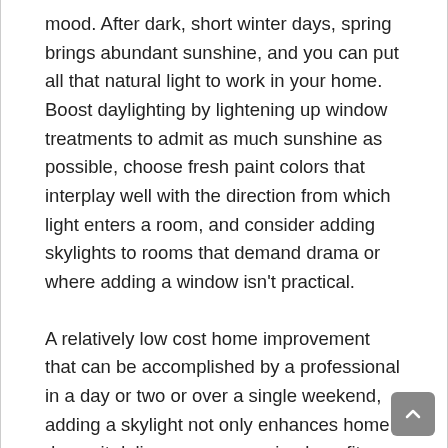mood. After dark, short winter days, spring brings abundant sunshine, and you can put all that natural light to work in your home. Boost daylighting by lightening up window treatments to admit as much sunshine as possible, choose fresh paint colors that interplay well with the direction from which light enters a room, and consider adding skylights to rooms that demand drama or where adding a window isn't practical.
A relatively low cost home improvement that can be accomplished by a professional in a day or two or over a single weekend, adding a skylight not only enhances home decor, it delivers energy-saving benefits as well. Skylights can help reduce dependence on artificial lighting – saving money on electricity bills. And, if you choose an ENERGY STAR certified solar-powered, fresh-air skylight like those made by Velux America and add remote-controlled, solar-powered blinds, you can improve the skylight's energy performance rating by as much as 45 percent while improving indoor air